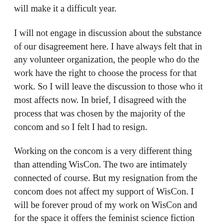will make it a difficult year.
I will not engage in discussion about the substance of our disagreement here. I have always felt that in any volunteer organization, the people who do the work have the right to choose the process for that work. So I will leave the discussion to those who it most affects now. In brief, I disagreed with the process that was chosen by the majority of the concom and so I felt I had to resign.
Working on the concom is a very different thing than attending WisCon. The two are intimately connected of course. But my resignation from the concom does not affect my support of WisCon. I will be forever proud of my work on WisCon and for the space it offers the feminist science fiction community and its allies. I count myself lucky to have worked on WisCon for as long as I have, and hope that it continues for many more years. I plan to attend WisCon 39 in 2015 and many future WisCons.